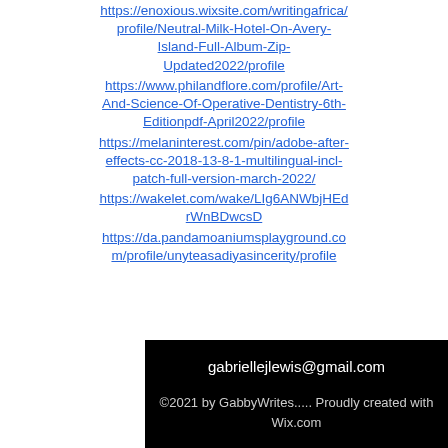https://enoxious.wixsite.com/writingafrica/profile/Neutral-Milk-Hotel-On-Avery-Island-Full-Album-Zip-Updated2022/profile
https://www.philandflore.com/profile/Art-And-Science-Of-Operative-Dentistry-6th-Editionpdf-April2022/profile
https://melaninterest.com/pin/adobe-after-effects-cc-2018-13-8-1-multilingual-incl-patch-full-version-march-2022/
https://wakelet.com/wake/LIg6ANWbjHEdrWnBDwcsD
https://da.pandamoaniumsplayground.com/profile/unyteasadiyasincerity/profile
gabriellejlewis@gmail.com
©2021 by GabbyWrites..... Proudly created with Wix.com